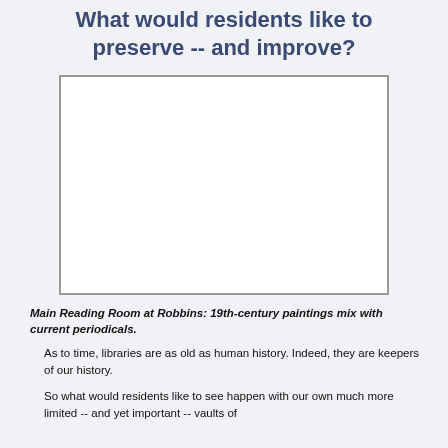What would residents like to preserve -- and improve?
[Figure (photo): Main Reading Room at Robbins library — a white-walled room with 19th-century paintings and current periodicals]
Main Reading Room at Robbins: 19th-century paintings mix with current periodicals.
As to time, libraries are as old as human history. Indeed, they are keepers of our history.
So what would residents like to see happen with our own much more limited -- and yet important -- vaults of